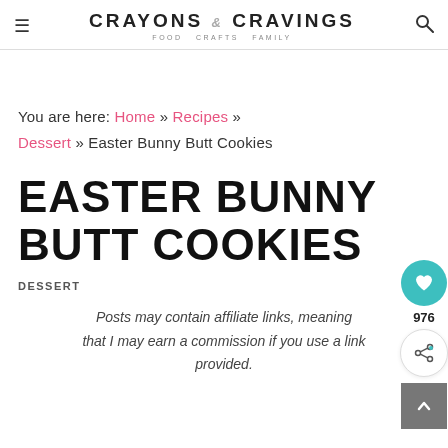CRAYONS & CRAVINGS — FOOD CRAFTS FAMILY
You are here: Home » Recipes » Dessert » Easter Bunny Butt Cookies
EASTER BUNNY BUTT COOKIES
DESSERT
Posts may contain affiliate links, meaning that I may earn a commission if you use a link provided.